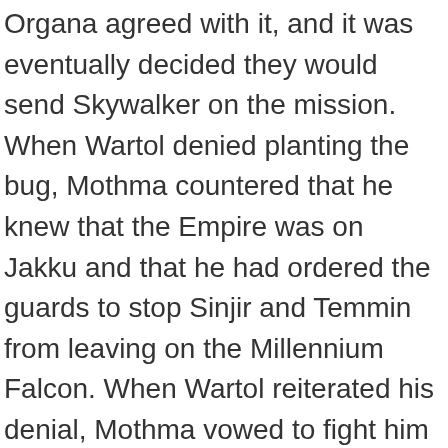Organa agreed with it, and it was eventually decided they would send Skywalker on the mission. When Wartol denied planting the bug, Mothma countered that he knew that the Empire was on Jakku and that he had ordered the guards to stop Sinjir and Temmin from leaving on the Millennium Falcon. When Wartol reiterated his denial, Mothma vowed to fight him at the next election. Mothma wondered who would have wanted to harm Farr, and, despite Divo's theory that the murder was a result of a secret from Farr's past, Purs speculated that the assassination was the result of Farr's opposition to the spending bill. [44]. Shortly thereafter, the Empire used the Death Star to destroy Alderaan, killing Organa with it. [59]. Unknown to Chancellor Mothma and the others, their conversations were being tapped by Senator Tolwar